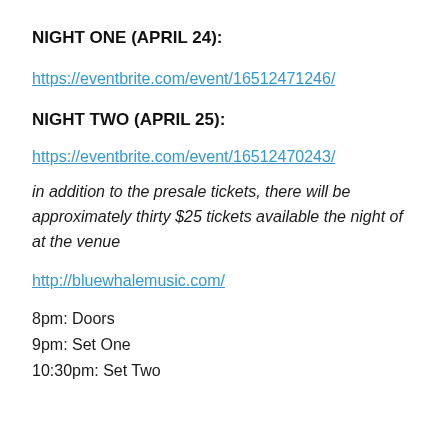NIGHT ONE (APRIL 24):
https://eventbrite.com/event/16512471246/
NIGHT TWO (APRIL 25):
https://eventbrite.com/event/16512470243/
in addition to the presale tickets, there will be approximately thirty $25 tickets available the night of at the venue
http://bluewhalemusic.com/
8pm: Doors
9pm: Set One
10:30pm: Set Two